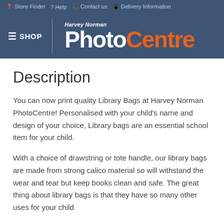Store Finder  Help  Contact us  Delivery Information
[Figure (logo): Harvey Norman PhotoCentre logo with white 'Photo' and orange 'Centre' text on dark blue background, with 'Harvey Norman' in italic above]
Description
You can now print quality Library Bags at Harvey Norman PhotoCentre! Personalised with your child's name and design of your choice, Library bags are an essential school item for your child.
With a choice of drawstring or tote handle, our library bags are made from strong calico material so will withstand the wear and tear but keep books clean and safe. The great thing about library bags is that they have so many other uses for your child